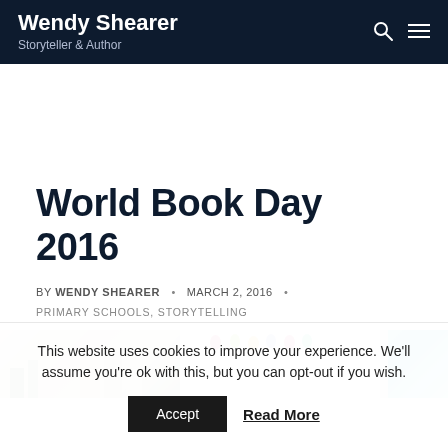Wendy Shearer – Storyteller & Author
World Book Day 2016
BY WENDY SHEARER • MARCH 2, 2016 • PRIMARY SCHOOLS, STORYTELLING
[Figure (photo): Featured image strip showing books and colourful decorations]
This website uses cookies to improve your experience. We'll assume you're ok with this, but you can opt-out if you wish. Accept  Read More